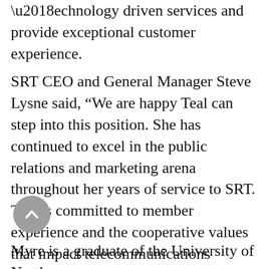‘technology driven services and provide exceptional customer experience.
SRT CEO and General Manager Steve Lysne said, “We are happy Teal can step into this position. She has continued to excel in the public relations and marketing arena throughout her years of service to SRT. Teal is committed to member experience and the cooperative values that impact telecommunications services for our members. We look forward to adding her to our executive staff team.”
Myre is a graduate of the University of North